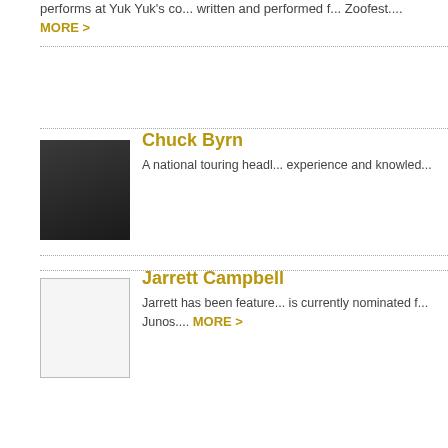performs at Yuk Yuk's co... written and performed f... Zoofest.... MORE >
[Figure (photo): Headshot photo of Chuck Byrn]
Chuck Byrn
A national touring headliner... experience and knowledge...
[Figure (photo): Placeholder image for Jarrett Campbell]
Jarrett Campbell
Jarrett has been featured... is currently nominated f... Junos.... MORE >
[Figure (photo): Placeholder image for Tommy Campbell]
Tommy Campbell
Tommy is known for his... act at Canadian theatres...
[Figure (photo): Placeholder image for Massimo Cannistra]
Massimo Cannistra
Massimo is all about ma... audience through his un...